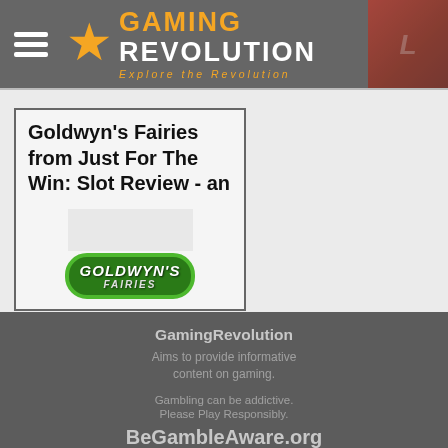Gaming Revolution — Explore the Revolution
Goldwyn's Fairies from Just For The Win: Slot Review - an
[Figure (logo): Goldwyn's Fairies game logo badge in green with white stylized text]
GamingRevolution
Aims to provide informative content on gaming.
Gambling can be addictive.
Please Play Responsibly.
BeGambleAware.org